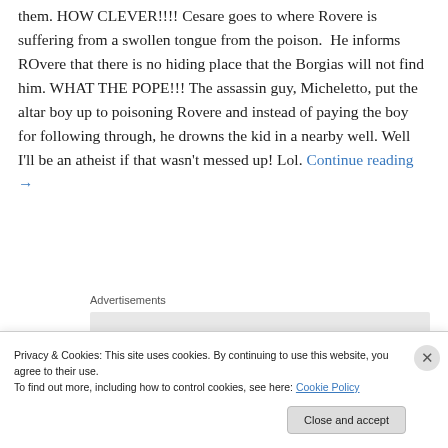them. HOW CLEVER!!!! Cesare goes to where Rovere is suffering from a swollen tongue from the poison. He informs ROvere that there is no hiding place that the Borgias will not find him. WHAT THE POPE!!! The assassin guy, Micheletto, put the altar boy up to poisoning Rovere and instead of paying the boy for following through, he drowns the kid in a nearby well. Well I'll be an atheist if that wasn't messed up! Lol. Continue reading →
Advertisements
[Figure (logo): Advertisement box with B2 logo icon]
Privacy & Cookies: This site uses cookies. By continuing to use this website, you agree to their use. To find out more, including how to control cookies, see here: Cookie Policy